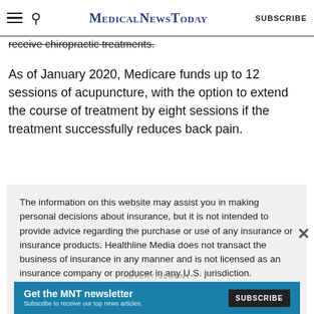MedicalNewsToday  SUBSCRIBE
receive chiropractic treatments.
As of January 2020, Medicare funds up to 12 sessions of acupuncture, with the option to extend the course of treatment by eight sessions if the treatment successfully reduces back pain.
The information on this website may assist you in making personal decisions about insurance, but it is not intended to provide advice regarding the purchase or use of any insurance or insurance products. Healthline Media does not transact the business of insurance in any manner and is not licensed as an insurance company or producer in any U.S. jurisdiction. Healthline Media does not recommend or endorse any third parties that may transact the business
ADVERTISEMENT
Get the MNT newsletter  Subscribe to receive our top news articles.  SUBSCRIBE